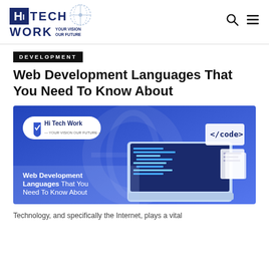HiTECH WORK — YOUR VISION OUR FUTURE
DEVELOPMENT
Web Development Languages That You Need To Know About
[Figure (illustration): Promotional banner for Hi Tech Work featuring a laptop with code on screen and floating UI elements on a blue gradient background, with text 'Web Development Languages That You Need To Know About']
Technology, and specifically the Internet, plays a vital